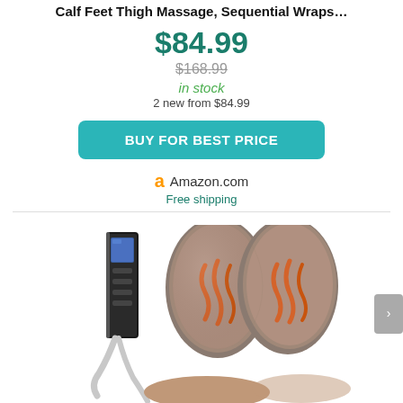Calf Feet Thigh Massage, Sequential Wraps...
$84.99
$168.99
in stock
2 new from $84.99
BUY FOR BEST PRICE
Amazon.com
Free shipping
[Figure (photo): Product photo of a calf and leg air compression massager with a handheld controller and two leg wrap attachments shown on a white background.]